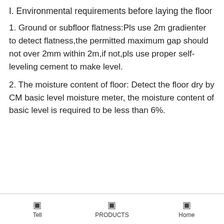I. Environmental requirements before laying the floor
1. Ground or subfloor flatness:Pls use 2m gradienter to detect flatness,the permitted maximum gap should not over 2mm within 2m,if not,pls use proper self-leveling cement to make level.
2. The moisture content of floor: Detect the floor dry by CM basic level moisture meter, the moisture content of basic level is required to be less than 6%.
Tell | PRODUCTS | Home